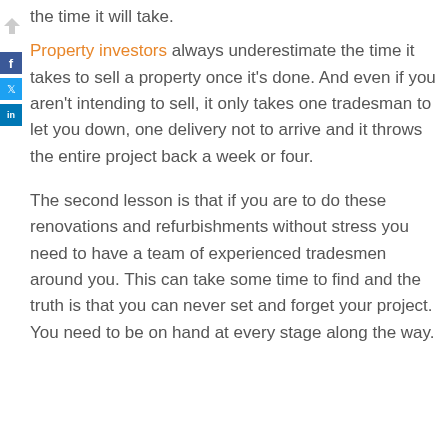the time it will take.
Property investors always underestimate the time it takes to sell a property once it's done. And even if you aren't intending to sell, it only takes one tradesman to let you down, one delivery not to arrive and it throws the entire project back a week or four.
The second lesson is that if you are to do these renovations and refurbishments without stress you need to have a team of experienced tradesmen around you. This can take some time to find and the truth is that you can never set and forget your project. You need to be on hand at every stage along the way.